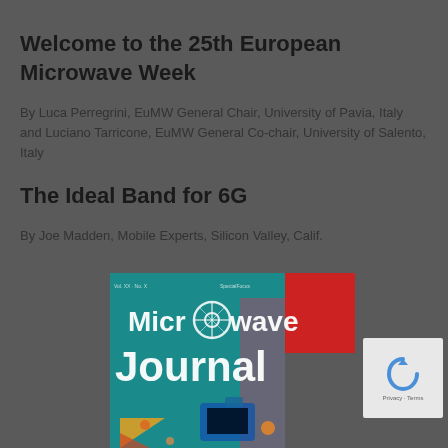Welcome to the 25th European Microwave Week
By Luca Perregrini, EuMW General Chair, University of Pavia, Italy and Luciano Tarricone, EuMW General Co-chair, University of Salento, Italy
The Ideal Band for 6G
By Joe Madden, Mobile Experts, Silicon Valley, Calif.
[Figure (photo): Cover of Microwave Journal magazine showing colorful graphic design with the text 'Microwave Journal' prominently displayed in white letters on a teal/blue background with decorative elements including triangles and a bottle shape.]